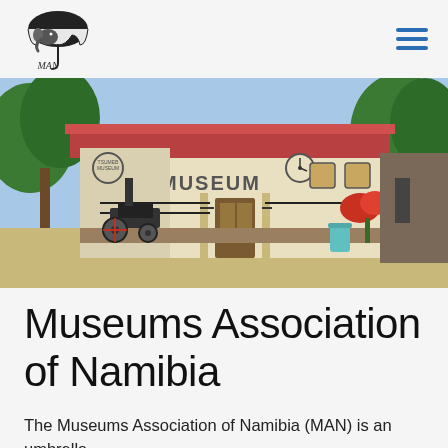MAN - Museums Association of Namibia
[Figure (photo): Exterior photograph of a museum building with a red roof, white walls, a clock on the facade, trees, and vintage machinery in front. The word MUSEUM is painted on the wall.]
Museums Association of Namibia
The Museums Association of Namibia (MAN) is an umbrella